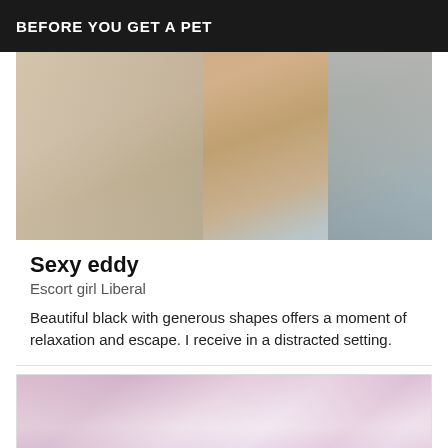BEFORE YOU GET A PET
[Figure (photo): Bathroom selfie photo cropped showing a person near a sink with toiletries]
Sexy eddy
Escort girl Liberal
Beautiful black with generous shapes offers a moment of relaxation and escape. I receive in a distracted setting.
[Figure (photo): Photo of a person in a pink/purple curtained setting with floral decorations]